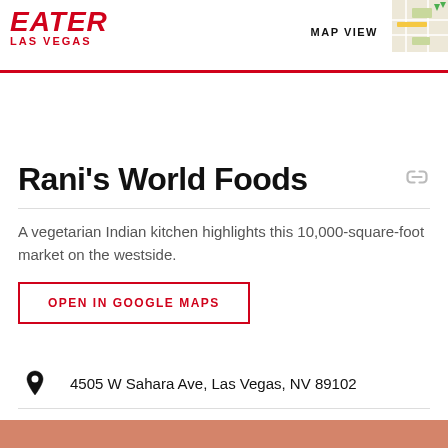EATER LAS VEGAS
[Figure (screenshot): Map thumbnail preview in top right corner with MAP VIEW label]
Rani's World Foods
A vegetarian Indian kitchen highlights this 10,000-square-foot market on the westside.
OPEN IN GOOGLE MAPS
4505 W Sahara Ave, Las Vegas, NV 89102
(702) 522-7744
Visit Website